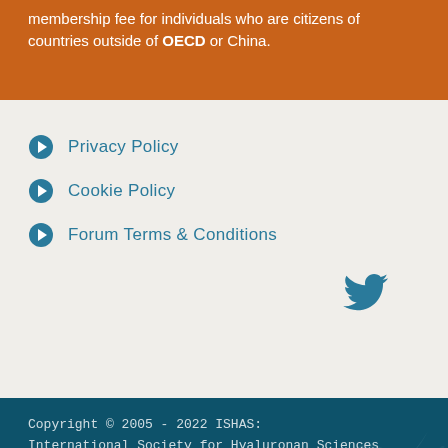membership fee for individuals who are citizens of countries outside of OECD or China.
Privacy Policy
Cookie Policy
Forum Terms & Conditions
[Figure (logo): Twitter bird icon in teal/blue color]
Copyright © 2005 - 2022 ISHAS: International Society for Hyaluronan Sciences